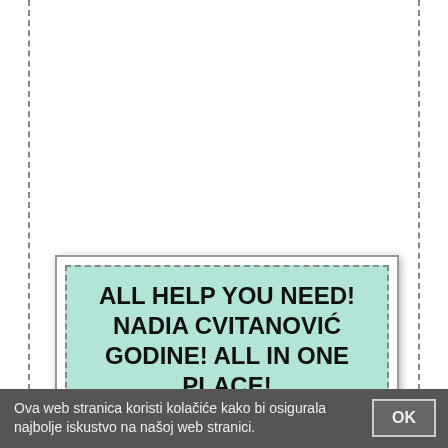ALL HELP YOU NEED! NADIA CVITANOVIĆ GODINE! ALL IN ONE PLACE!
https://www.helpwire.com/seek?...
HelpWire is the ultimate one-stop shop for people of all expertise levels looking for help on all kind of
Ova web stranica koristi kolačiće kako bi osigurala najbolje iskustvo na našoj web stranici.